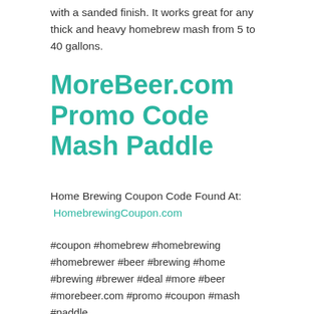with a sanded finish. It works great for any thick and heavy homebrew mash from 5 to 40 gallons.
MoreBeer.com Promo Code Mash Paddle
Home Brewing Coupon Code Found At:
HomebrewingCoupon.com
#coupon #homebrew #homebrewing #homebrewer #beer #brewing #home #brewing #brewer #deal #more #beer #morebeer.com #promo #coupon #mash #paddle